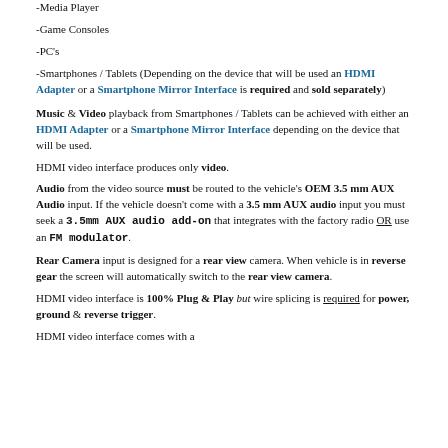-Media Player
-Game Consoles
-PC's
-Smartphones / Tablets (Depending on the device that will be used an HDMI Adapter or a Smartphone Mirror Interface is required and sold separately)
Music & Video playback from Smartphones / Tablets can be achieved with either an HDMI Adapter or a Smartphone Mirror Interface depending on the device that will be used.
HDMI video interface produces only video.
Audio from the video source must be routed to the vehicle's OEM 3.5 mm AUX Audio input. If the vehicle doesn't come with a 3.5 mm AUX audio input you must seek a 3.5mm AUX audio add-on that integrates with the factory radio OR use an FM modulator.
Rear Camera input is designed for a rear view camera. When vehicle is in reverse gear the screen will automatically switch to the rear view camera.
HDMI video interface is 100% Plug & Play but wire splicing is required for power, ground & reverse trigger.
HDMI video interface comes with a...